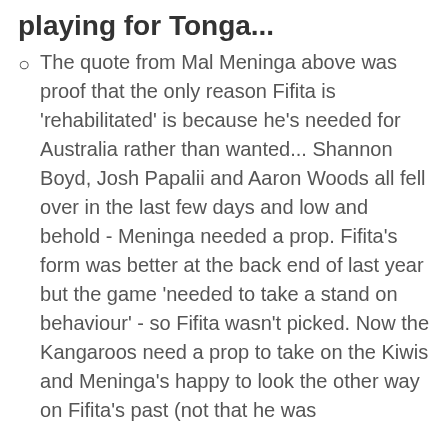playing for Tonga...
The quote from Mal Meninga above was proof that the only reason Fifita is 'rehabilitated' is because he's needed for Australia rather than wanted... Shannon Boyd, Josh Papalii and Aaron Woods all fell over in the last few days and low and behold - Meninga needed a prop. Fifita's form was better at the back end of last year but the game 'needed to take a stand on behaviour' - so Fifita wasn't picked. Now the Kangaroos need a prop to take on the Kiwis and Meninga's happy to look the other way on Fifita's past (not that he was